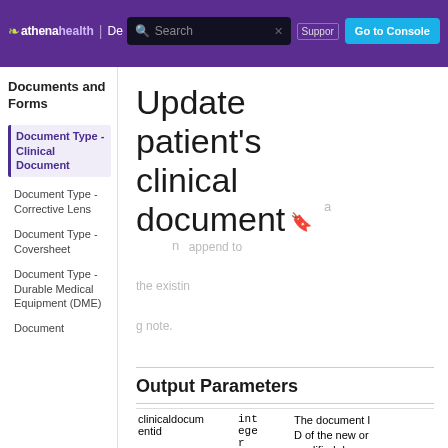athenahealth | De... Search | Support | Go to Console
Documents and Forms
Document Type - Clinical Document (active)
Document Type - Corrective Lens
Document Type - Coversheet
Document Type - Durable Medical Equipment (DME)
Document
Update patient's clinical document
an append to the existing note.
Output Parameters
|  | Type | Description |
| --- | --- | --- |
| clinicaldocumentid | integer | The document ID of the new or modified document |